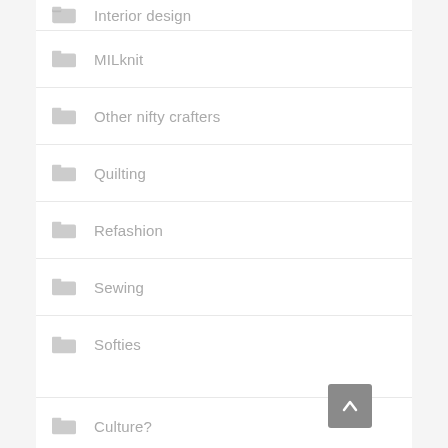Interior design
MILknit
Other nifty crafters
Quilting
Refashion
Sewing
Softies
Culture?
Digiscrap
Earworms
flickr
Food